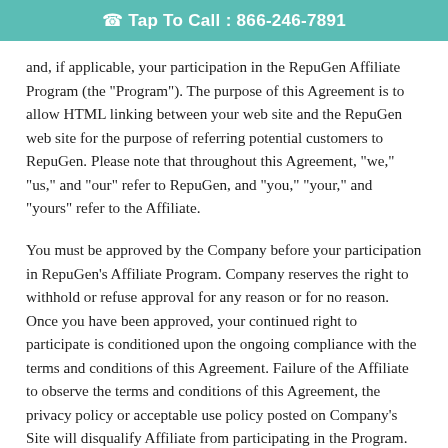Tap To Call : 866-246-7891
and, if applicable, your participation in the RepuGen Affiliate Program (the "Program"). The purpose of this Agreement is to allow HTML linking between your web site and the RepuGen web site for the purpose of referring potential customers to RepuGen. Please note that throughout this Agreement, "we," "us," and "our" refer to RepuGen, and "you," "your," and "yours" refer to the Affiliate.
You must be approved by the Company before your participation in RepuGen's Affiliate Program. Company reserves the right to withhold or refuse approval for any reason or for no reason. Once you have been approved, your continued right to participate is conditioned upon the ongoing compliance with the terms and conditions of this Agreement. Failure of the Affiliate to observe the terms and conditions of this Agreement, the privacy policy or acceptable use policy posted on Company's Site will disqualify Affiliate from participating in the Program.